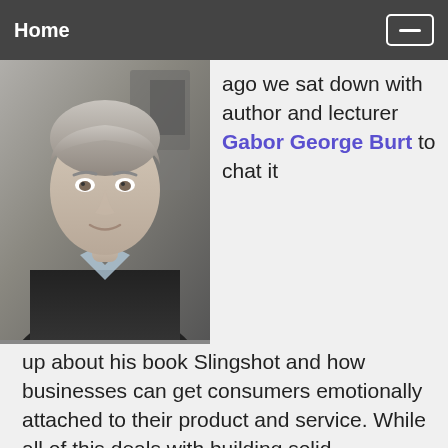Home
[Figure (photo): Portrait photo of a middle-aged man with grey hair wearing a dark jacket, in an indoor setting]
ago we sat down with author and lecturer Gabor George Burt to chat it up about his book Slingshot and how businesses can get consumers emotionally attached to their product and service. While all of this deals with building solid relationships and sounds easy...there is a method. This piece aired this past Sunday on News/Talk 1540 KXEL in case you missed it.  Step into our Way-Back Machine for this conversation:
[Figure (screenshot): Audio player widget for Insight On Business the News H... showing Rewind - Consume... controls and a podcast/radio logo at the bottom]